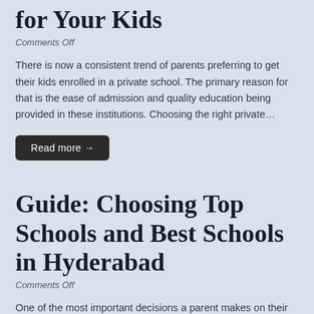for Your Kids
Comments Off
There is now a consistent trend of parents preferring to get their kids enrolled in a private school. The primary reason for that is the ease of admission and quality education being provided in these institutions. Choosing the right private…
Read more →
Guide: Choosing Top Schools and Best Schools in Hyderabad
Comments Off
One of the most important decisions a parent makes on their kids